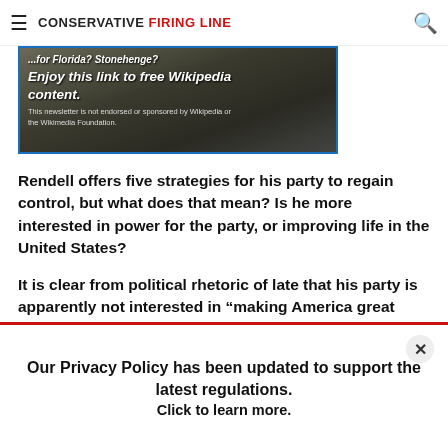Conservative Firing Line
[Figure (infographic): Advertisement banner with dark stone background showing Stonehenge-like image. Text reads: 'Enjoy this link to free Wikipedia content. This newsletter is not endorsed or sponsored by Wikipedia or the Wikimedia Foundation.']
Rendell offers five strategies for his party to regain control, but what does that mean? Is he more interested in power for the party, or improving life in the United States?
It is clear from political rhetoric of late that his party is apparently not interested in “making America great again.” That is, unless “greatness” is measured by how many “safe injection sites” can be created for drug addicts, or how much local laws can erode the Second Amendment, or how well
Our Privacy Policy has been updated to support the latest regulations. Click to learn more.